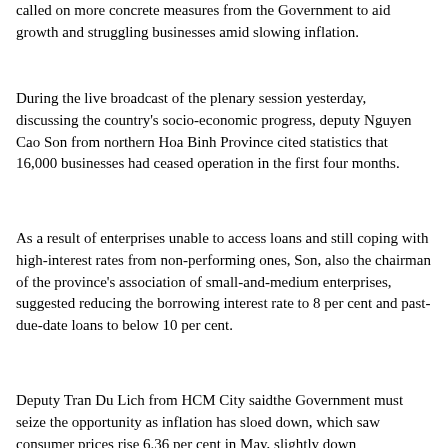called on more concrete measures from the Government to aid growth and struggling businesses amid slowing inflation.
During the live broadcast of the plenary session yesterday, discussing the country's socio-economic progress, deputy Nguyen Cao Son from northern Hoa Binh Province cited statistics that 16,000 businesses had ceased operation in the first four months.
As a result of enterprises unable to access loans and still coping with high-interest rates from non-performing ones, Son, also the chairman of the province's association of small-and-medium enterprises, suggested reducing the borrowing interest rate to 8 per cent and past-due-date loans to below 10 per cent.
Deputy Tran Du Lich from HCM City saidthe Government must seize the opportunity as inflation has sloed down, which saw consumer prices rise 6.36 per cent in May, slightly down from...